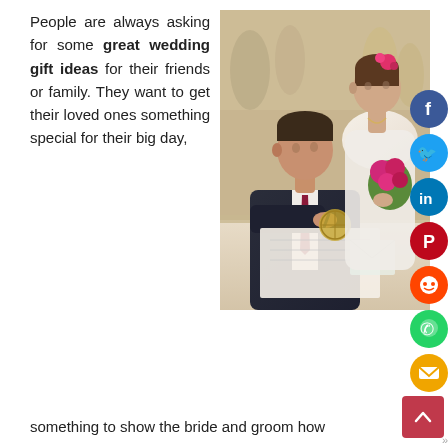People are always asking for some great wedding gift ideas for their friends or family. They want to get their loved ones something special for their big day, something to show the bride and groom how
[Figure (photo): A groom in a dark suit signing a document at a table during a wedding ceremony, with a bride in a white dress holding pink flowers standing behind him.]